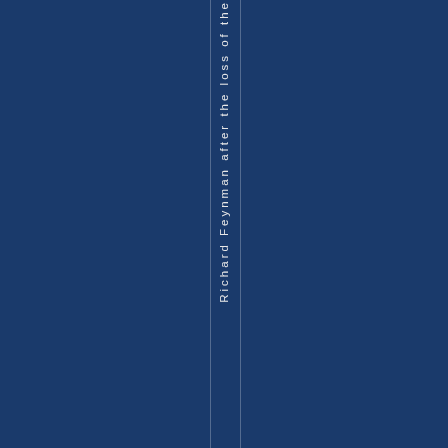[Figure (other): Dark navy blue book cover or spine page with a vertical text column reading 'Richard Feynman after the loss of the' displayed vertically along a spine strip with thin vertical border lines on either side]
Richard Feynman after the loss of the